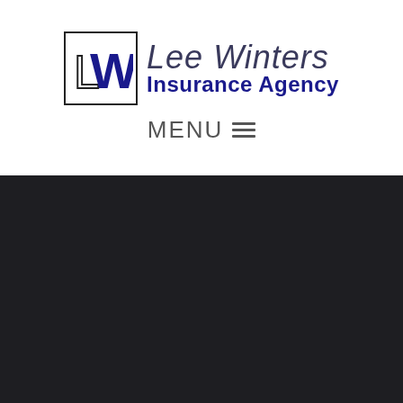[Figure (logo): Lee Winters Insurance Agency logo with LW monogram in a box and italic/bold agency name text]
MENU ≡
[Figure (photo): Dark background section, nearly black, occupying the lower portion of the page]